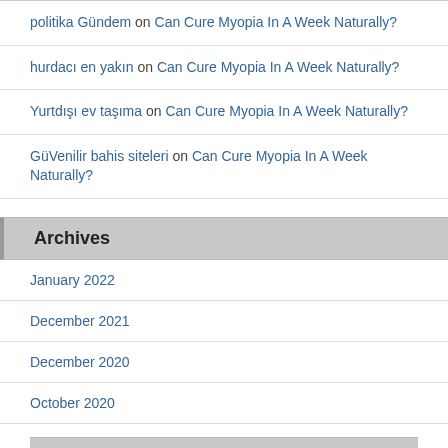politika Gündem on Can Cure Myopia In A Week Naturally?
hurdacı en yakın on Can Cure Myopia In A Week Naturally?
Yurtdışı ev taşıma on Can Cure Myopia In A Week Naturally?
GüVenilir bahis siteleri on Can Cure Myopia In A Week Naturally?
Archives
January 2022
December 2021
December 2020
October 2020
July 2020
June 2020
May 2020